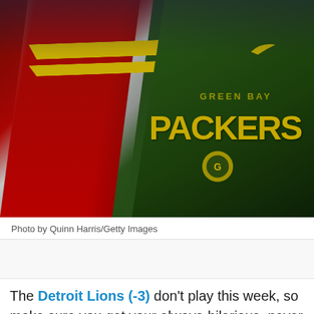[Figure (photo): Two NFL players standing close together — one in a Kansas City Chiefs red and white jersey with yellow stripes, the other in a Green Bay Packers dark green hoodie/jersey with 'GREEN BAY PACKERS' text and logo visible.]
Photo by Quinn Harris/Getty Images
The Detroit Lions (-3) don't play this week, so make sure you get your always-hilarious, never overdone, annual jokes about the team losing to the bye week posted in the next couple of days. Time is running out.